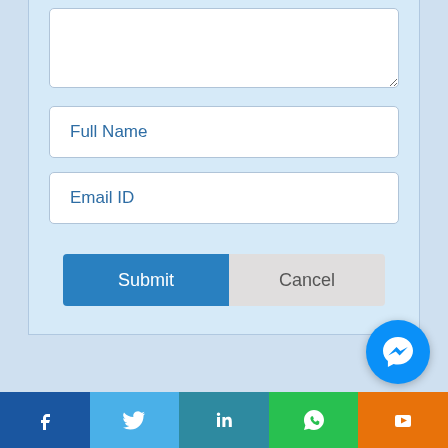[Figure (screenshot): Web form with textarea, Full Name input, Email ID input, Submit and Cancel buttons on a light blue background]
[Figure (infographic): Social media share bar with Facebook, Twitter, LinkedIn, WhatsApp, YouTube icons, and a Facebook Messenger chat bubble]